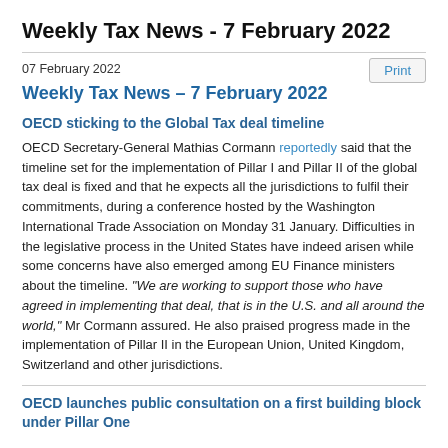Weekly Tax News - 7 February 2022
07 February 2022
Weekly Tax News – 7 February 2022
OECD sticking to the Global Tax deal timeline
OECD Secretary-General Mathias Cormann reportedly said that the timeline set for the implementation of Pillar I and Pillar II of the global tax deal is fixed and that he expects all the jurisdictions to fulfil their commitments, during a conference hosted by the Washington International Trade Association on Monday 31 January. Difficulties in the legislative process in the United States have indeed arisen while some concerns have also emerged among EU Finance ministers about the timeline. "We are working to support those who have agreed in implementing that deal, that is in the U.S. and all around the world," Mr Cormann assured. He also praised progress made in the implementation of Pillar II in the European Union, United Kingdom, Switzerland and other jurisdictions.
OECD launches public consultation on a first building block under Pillar One